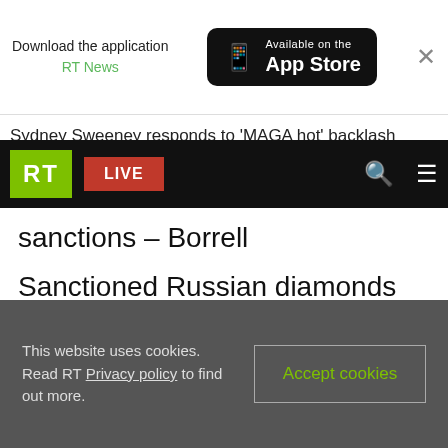[Figure (screenshot): App store download banner with RT News app promotion and Available on the App Store button]
Sydney Sweeney responds to 'MAGA hot' backlash
[Figure (screenshot): RT website navigation bar with green RT logo, red LIVE button, search icon, and hamburger menu]
sanctions – Borrell
Sanctioned Russian diamonds flowing to global market – Bloomberg
RT Features
This website uses cookies. Read RT Privacy policy to find out more.